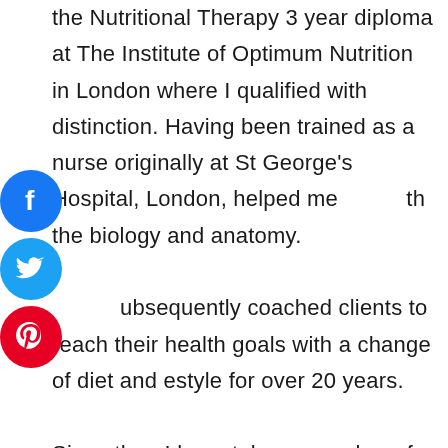the Nutritional Therapy 3 year diploma at The Institute of Optimum Nutrition in London where I qualified with distinction. Having been trained as a nurse originally at St George's Hospital, London, helped me with the biology and anatomy. Subsequently coached clients to reach their health goals with a change of diet and lifestyle for over 20 years. Since then I have taken a number of courses including Health Coaching, and Nutritional Therapy at the Health Sciences Academy to stay up to date with all the
[Figure (illustration): Three social media icons stacked vertically on the left side: Facebook (blue circle with 'f'), Twitter (light blue circle with bird), Pinterest (red circle with 'p')]